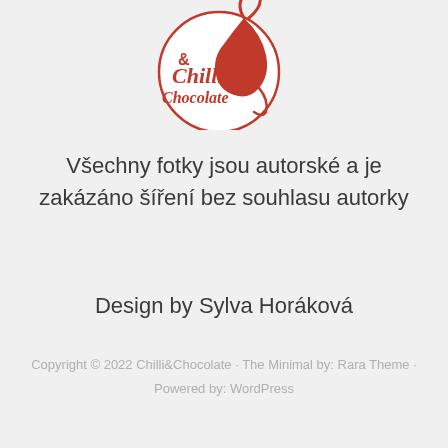[Figure (logo): Chilli & Chocolate circular logo with red chilli pepper illustration and stylized text reading '& Chilli Chocolate']
Všechny fotky jsou autorské a je zakázáno šíření bez souhlasu autorky
Design by Sylva Horáková
Copyright © 2022 Chilli&Chocolate · The Minimal by: Rara Theme · Powered by: WordPress